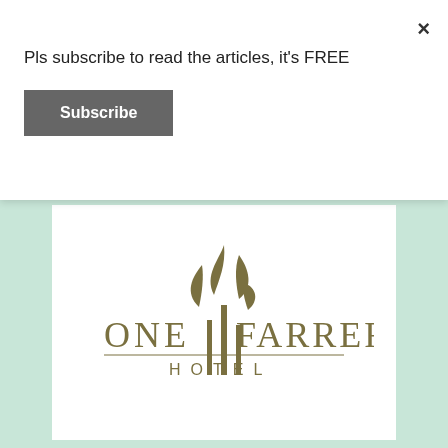Pls subscribe to read the articles, it's FREE
Subscribe
[Figure (logo): One Farrer Hotel logo with stylized plant/leaf illustration above the text ONE FARRER HOTEL in olive/gold color]